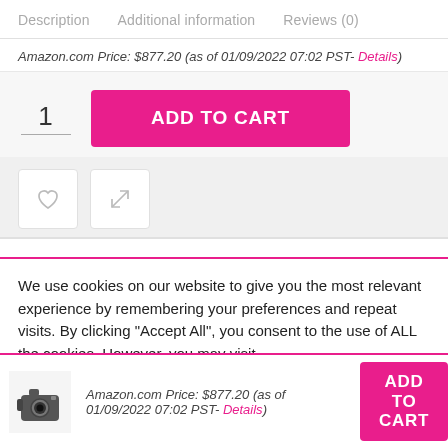Description   Additional information   Reviews (0)
Amazon.com Price: $877.20 (as of 01/09/2022 07:02 PST- Details)
1   ADD TO CART
[Figure (screenshot): Wishlist and compare icon buttons]
We use cookies on our website to give you the most relevant experience by remembering your preferences and repeat visits. By clicking "Accept All", you consent to the use of ALL the cookies. However, you may visit "Cookie Settings" to provide a controlled consent.
Amazon.com Price: $877.20 (as of 01/09/2022 07:02 PST- Details)
ADD TO CART